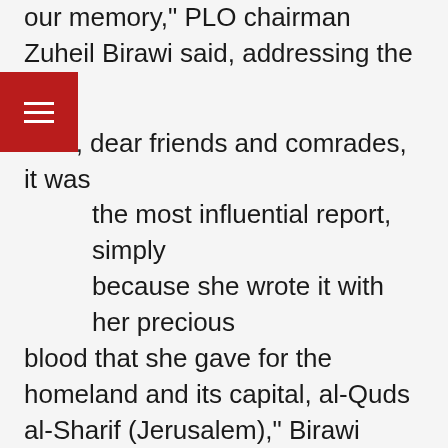our memory," PLO chairman Zuheil Birawi said, addressing the rally.
"Yes, dear friends and comrades, it was the most influential report, simply because she wrote it with her precious blood that she gave for the homeland and its capital, al-Quds al-Sharif (Jerusalem)," Birawi added.
Several speakers at Saturday's rally criticized Britain's leaders over their stances on the Palestinian cause and their passivity towards Israeli crimes and violations.
Labor Party MP Zarah Sultana said the participants in the march were sending a